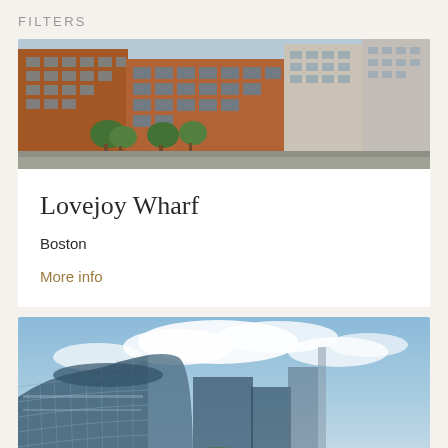FILTERS
[Figure (photo): Exterior photo of Lovejoy Wharf building — red brick multi-story mixed-use development in Boston with trees and street level retail]
Lovejoy Wharf
Boston
More info
[Figure (photo): Exterior photo of a curved modern glass building with blue sky and clouds, with Chicago skyline visible in background]